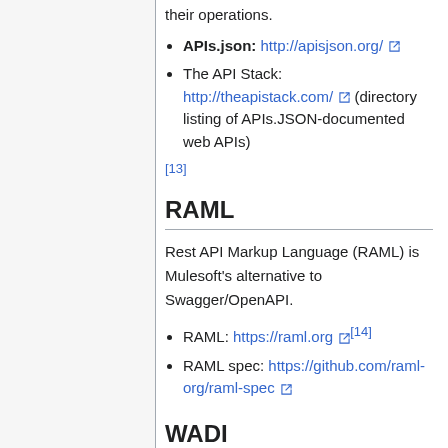their operations.
APIs.json: http://apisjson.org/
The API Stack: http://theapistack.com/ (directory listing of APIs.JSON-documented web APIs)
[13]
RAML
Rest API Markup Language (RAML) is Mulesoft's alternative to Swagger/OpenAPI.
RAML: https://raml.org [14]
RAML spec: https://github.com/raml-org/raml-spec
WADI